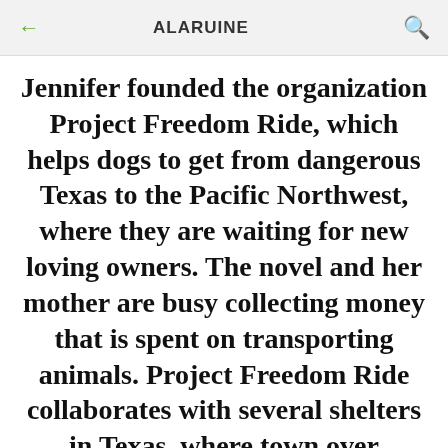← ALARUINE 🔍
Jennifer founded the organization Project Freedom Ride, which helps dogs to get from dangerous Texas to the Pacific Northwest, where they are waiting for new loving owners. The novel and her mother are busy collecting money that is spent on transporting animals. Project Freedom Ride collaborates with several shelters in Texas, where town over...